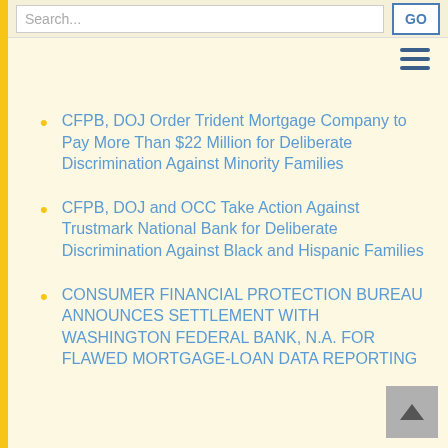Search... GO
CFPB, DOJ Order Trident Mortgage Company to Pay More Than $22 Million for Deliberate Discrimination Against Minority Families
CFPB, DOJ and OCC Take Action Against Trustmark National Bank for Deliberate Discrimination Against Black and Hispanic Families
CONSUMER FINANCIAL PROTECTION BUREAU ANNOUNCES SETTLEMENT WITH WASHINGTON FEDERAL BANK, N.A. FOR FLAWED MORTGAGE-LOAN DATA REPORTING